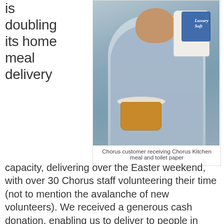is doubling its home meal delivery
[Figure (photo): A man smiling and holding a large roll of Luxury Soft toilet paper and a Chorus Kitchen meal container]
Chorus customer receiving Chorus Kitchen meal and toilet paper
capacity, delivering over the Easter weekend, with over 30 Chorus staff volunteering their time (not to mention the avalanche of new volunteers). We received a generous cash donation, enabling us to deliver to people in